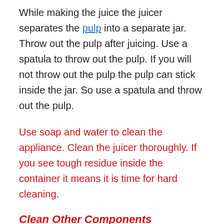While making the juice the juicer separates the pulp into a separate jar. Throw out the pulp after juicing. Use a spatula to throw out the pulp. If you will not throw out the pulp the pulp can stick inside the jar. So use a spatula and throw out the pulp.
Use soap and water to clean the appliance. Clean the juicer thoroughly. If you see tough residue inside the container it means it is time for hard cleaning.
Clean Other Components
The juicer has other components that...